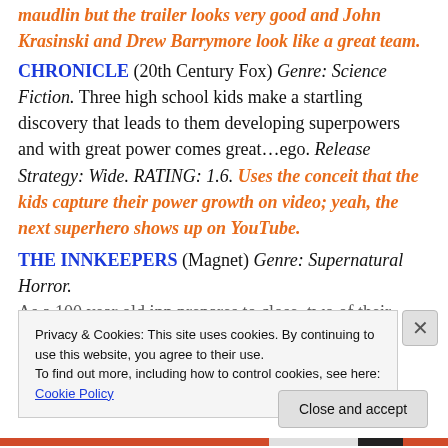maudlin but the trailer looks very good and John Krasinski and Drew Barrymore look like a great team.
CHRONICLE (20th Century Fox) Genre: Science Fiction. Three high school kids make a startling discovery that leads to them developing superpowers and with great power comes great…ego. Release Strategy: Wide. RATING: 1.6. Uses the conceit that the kids capture their power growth on video; yeah, the next superhero shows up on YouTube.
THE INNKEEPERS (Magnet) Genre: Supernatural Horror. As a 100 year old inn prepares to close, two of their
Privacy & Cookies: This site uses cookies. By continuing to use this website, you agree to their use. To find out more, including how to control cookies, see here: Cookie Policy